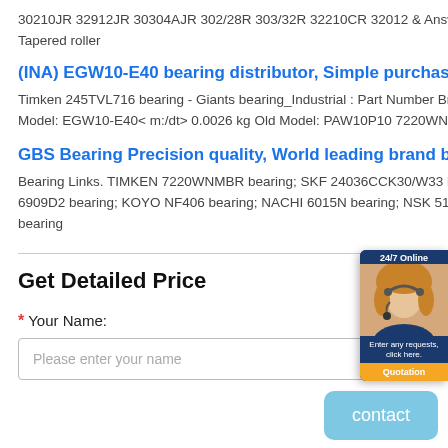30210JR 32912JR 30304AJR 302/28R 303/32R 32210CR 32012 & Answer Ask something for more details KOYO 30302JR Auto bearing Tapered roller
(INA) EGW10-E40 bearing distributor, Simple purchase EGW10
Timken 245TVL716 bearing - Giants bearing_Industrial : Part Number Brand Bearing Type D d B PAW10P10 INA Bearings Accessories New Model: EGW10-E40< m:/dt> 0.0026 kg Old Model: PAW10P10 7220WNMBR Timken Angular.
GBS Bearing Precision quality, World leading brand bea
Bearing Links. TIMKEN 7220WNMBR bearing; SKF 24036CCK30/W33 bearing; NTN 6920LLU bearing; NSK 23148CE4 bearing; NTN 6909D2 bearing; KOYO NF406 bearing; NACHI 6015N bearing; NSK 51309 bea SKF C4132-2CS5V/GEM9 bearing; FAG HCB71938-C-T-P4S bearing
Get Detailed Price
* Your Name:
Please enter your name